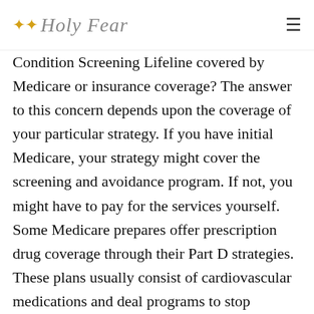Holy Fear
Condition Screening Lifeline covered by Medicare or insurance coverage? The answer to this concern depends upon the coverage of your particular strategy. If you have initial Medicare, your strategy might cover the screening and avoidance program. If not, you might have to pay for the services yourself. Some Medicare prepares offer prescription drug coverage through their Part D strategies. These plans usually consist of cardiovascular medications and deal programs to stop cigarette smoking.